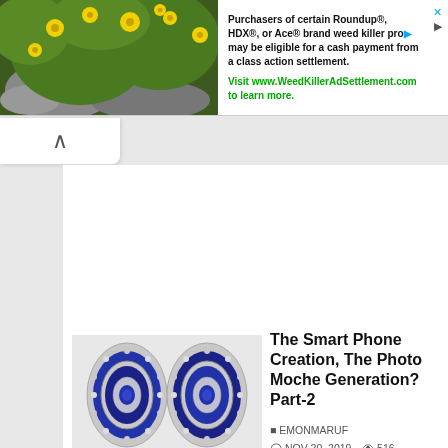[Figure (screenshot): Ad banner: image of yellow flowers and greenery on left, text on right about Roundup/HDX/Ace weed killer class action settlement]
Purchasers of certain Roundup®, HDX®, or Ace® brand weed killer products may be eligible for a cash payment from a class action settlement. Visit www.WeedKillerAdSettlement.com to learn more.
[Figure (photo): Thumbnail image of beaded oval jewelry pieces (earrings) with blue and silver beading in concentric oval patterns]
The Smart Phone Creation, The Photo Moche Generation? Part-2
EMONMARUF
NOV 20, 2019   516
0 COMMENTS